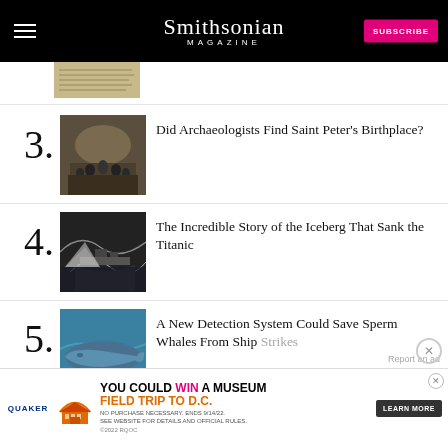Smithsonian Magazine
[Figure (photo): Partial thumbnail of an ancient manuscript/document (item 2, cropped at top)]
3. Did Archaeologists Find Saint Peter's Birthplace?
4. The Incredible Story of the Iceberg That Sank the Titanic
5. A New Detection System Could Save Sperm Whales From Ship Strikes
[Figure (photo): Quaker Museum Day advertisement banner: YOU COULD WIN A MUSEUM FIELD TRIP TO D.C. - LEARN MORE. No purchase necessary. Ends 9/14/22.]